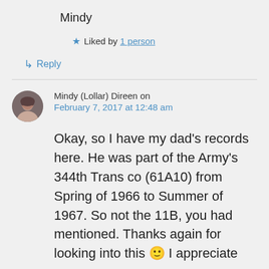Mindy
★ Liked by 1 person
↳ Reply
Mindy (Lollar) Direen on February 7, 2017 at 12:48 am
Okay, so I have my dad's records here. He was part of the Army's 344th Trans co (61A10) from Spring of 1966 to Summer of 1967. So not the 11B, you had mentioned. Thanks again for looking into this 🙂 I appreciate your